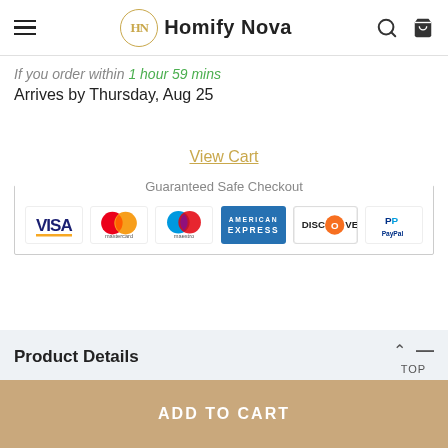Homify Nova
If you order within 1 hour 59 mins
Arrives by Thursday, Aug 25
View Cart
[Figure (infographic): Guaranteed Safe Checkout panel showing payment method logos: VISA, Mastercard, Maestro, American Express, Discover, PayPal]
Product Details
ADD TO CART